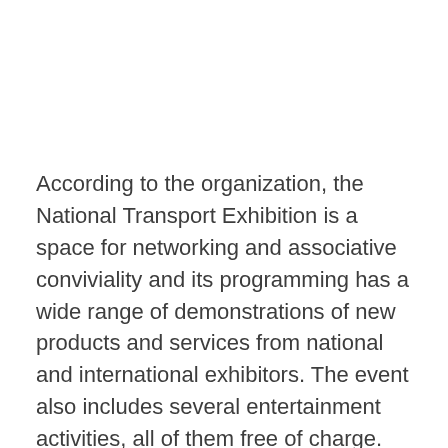According to the organization, the National Transport Exhibition is a space for networking and associative conviviality and its programming has a wide range of demonstrations of new products and services from national and international exhibitors. The event also includes several entertainment activities, all of them free of charge.